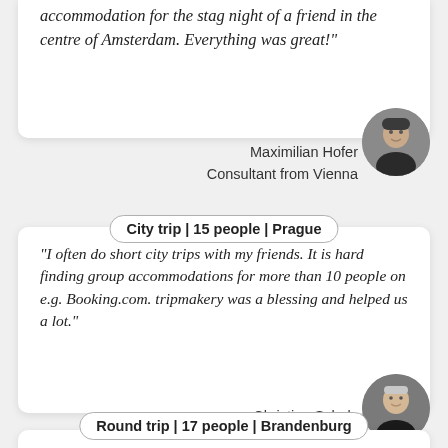accommodation for the stag night of a friend in the centre of Amsterdam. Everything was great!"
Maximilian Hofer
Consultant from Vienna
City trip | 15 people | Prague
"I often do short city trips with my friends. It is hard finding group accommodations for more than 10 people on e.g. Booking.com. tripmakery was a blessing and helped us a lot."
Christian Schulz
Computer Scientist from Karlsruhe
Round trip | 17 people | Brandenburg